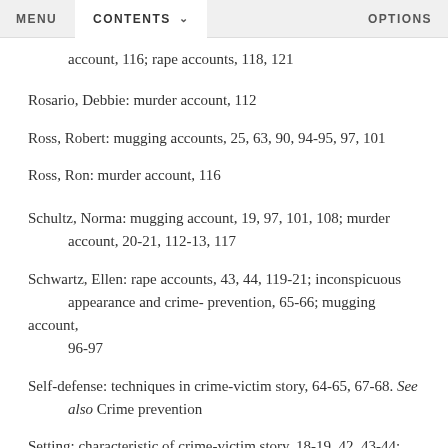MENU   CONTENTS ∨   OPTIONS
account, 116; rape accounts, 118, 121
Rosario, Debbie: murder account, 112
Ross, Robert: mugging accounts, 25, 63, 90, 94-95, 97, 101
Ross, Ron: murder account, 116
Schultz, Norma: mugging account, 19, 97, 101, 108; murder account, 20-21, 112-13, 117
Schwartz, Ellen: rape accounts, 43, 44, 119-21; inconspicuous appearance and crime- prevention, 65-66; mugging account, 96-97
Self-defense: techniques in crime-victim story, 64-65, 67-68. See also Crime prevention
Setting: characteristic of crime-victim story, 18-19, 42, 43-44; focus of mugging account, 52; victim familiarity and security,